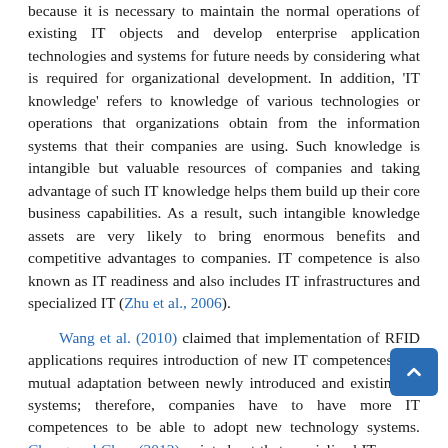because it is necessary to maintain the normal operations of existing IT objects and develop enterprise application technologies and systems for future needs by considering what is required for organizational development. In addition, 'IT knowledge' refers to knowledge of various technologies or operations that organizations obtain from the information systems that their companies are using. Such knowledge is intangible but valuable resources of companies and taking advantage of such IT knowledge helps them build up their core business capabilities. As a result, such intangible knowledge assets are very likely to bring enormous benefits and competitive advantages to companies. IT competence is also known as IT readiness and also includes IT infrastructures and specialized IT (Zhu et al., 2006).
Wang et al. (2010) claimed that implementation of RFID applications requires introduction of new IT competences and mutual adaptation between newly introduced and existing IT systems; therefore, companies have to have more IT competences to be able to adopt new technology systems. Chong and Chan (2012) pointed out that specialized IT means possessing the knowledge and skills required for building IT applications of new technologies. This study infers that IT competence has a positive effect on adoption of e-freight